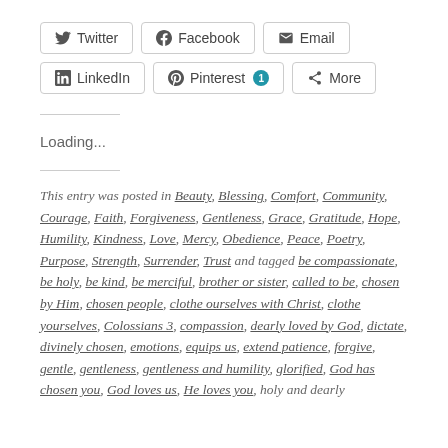[Figure (infographic): Social sharing buttons: Twitter, Facebook, Email, LinkedIn, Pinterest (with count badge 1), More]
Loading...
This entry was posted in Beauty, Blessing, Comfort, Community, Courage, Faith, Forgiveness, Gentleness, Grace, Gratitude, Hope, Humility, Kindness, Love, Mercy, Obedience, Peace, Poetry, Purpose, Strength, Surrender, Trust and tagged be compassionate, be holy, be kind, be merciful, brother or sister, called to be, chosen by Him, chosen people, clothe ourselves with Christ, clothe yourselves, Colossians 3, compassion, dearly loved by God, dictate, divinely chosen, emotions, equips us, extend patience, forgive, gentle, gentleness, gentleness and humility, glorified, God has chosen you, God loves us, He loves you, holy and dearly